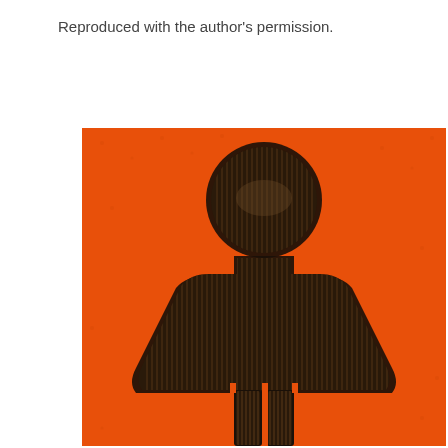Reproduced with the author’s permission.
[Figure (photo): A photograph of a women’s restroom sign: a stylised female figure (circle head, dress/skirt body, two legs) made from a dark corrugated/ribbed material mounted on a bright orange textured wall.]